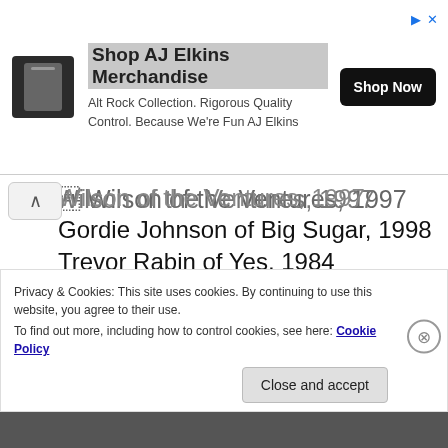[Figure (infographic): Advertisement banner: Shop AJ Elkins Merchandise. Alt Rock Collection. Rigorous Quality Control. Because We're Fun AJ Elkins. Shop Now button.]
Wilson of the Ventures, 1997
Gordie Johnson of Big Sugar, 1998
Trevor Rabin of Yes, 1984
Albert Lee, 1986
Yngwie Malmsteen, 1985
Robert Cray, 1996
Tony Carey, 1984
Privacy & Cookies: This site uses cookies. By continuing to use this website, you agree to their use. To find out more, including how to control cookies, see here: Cookie Policy
Close and accept